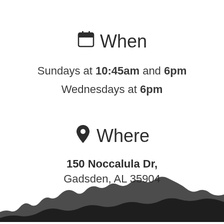When
Sundays at 10:45am and 6pm
Wednesdays at 6pm
Where
150 Noccalula Dr,
Gadsden, AL 35904
[Figure (illustration): Mountain/treeline silhouette at the bottom of the page in dark gray/black]